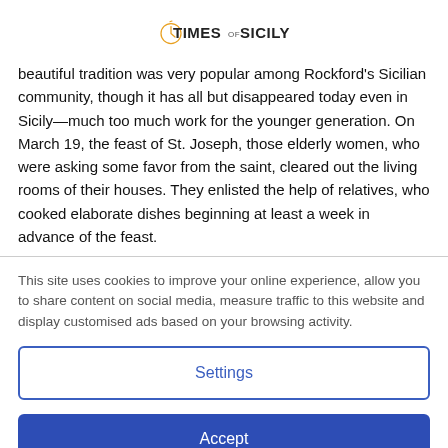TIMES OF SICILY
beautiful tradition was very popular among Rockford's Sicilian community, though it has all but disappeared today even in Sicily—much too much work for the younger generation. On March 19, the feast of St. Joseph, those elderly women, who were asking some favor from the saint, cleared out the living rooms of their houses. They enlisted the help of relatives, who cooked elaborate dishes beginning at least a week in advance of the feast.
This site uses cookies to improve your online experience, allow you to share content on social media, measure traffic to this website and display customised ads based on your browsing activity.
Settings
Accept